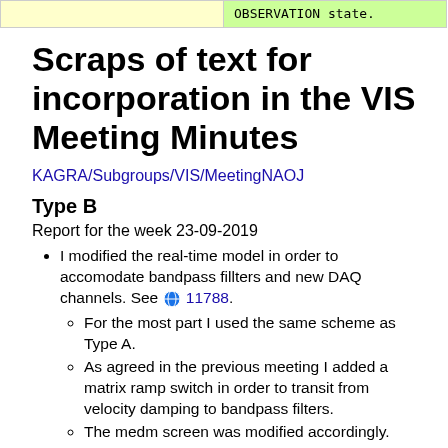|  |  |
| --- | --- |
|  | OBSERVATION state. |
Scraps of text for incorporation in the VIS Meeting Minutes
KAGRA/Subgroups/VIS/MeetingNAOJ
Type B
Report for the week 23-09-2019
I modified the real-time model in order to accomodate bandpass fillters and new DAQ channels. See 🌐 11788.
For the most part I used the same scheme as Type A.
As agreed in the previous meeting I added a matrix ramp switch in order to transit from velocity damping to bandpass filters.
The medm screen was modified accordingly.